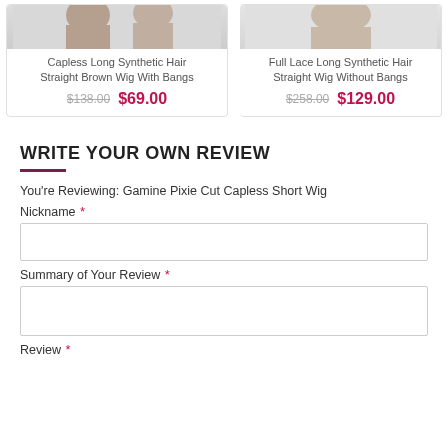[Figure (photo): Product card for Capless Long Synthetic Hair Straight Brown Wig With Bangs, showing partial image of person with brown hair at top, original price $138.00 crossed out, sale price $69.00 in red]
[Figure (photo): Partial product card for Full Lace Long Synthetic Hair Straight Wig Without Bangs, showing original price $258.00 crossed out, sale price $129.00 in red]
WRITE YOUR OWN REVIEW
You're Reviewing: Gamine Pixie Cut Capless Short Wig
Nickname *
Summary of Your Review *
Review *